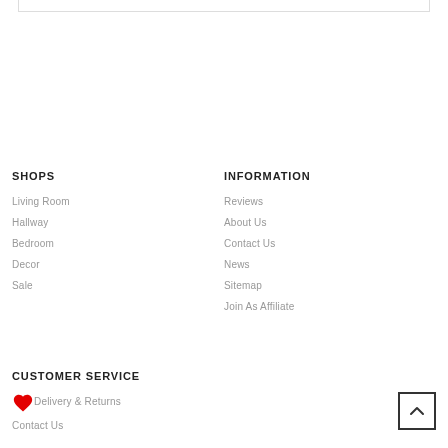SHOPS
Living Room
Hallway
Bedroom
Decor
Sale
INFORMATION
Reviews
About Us
Contact Us
News
Sitemap
Join As Affiliate
CUSTOMER SERVICE
Delivery & Returns
Contact Us